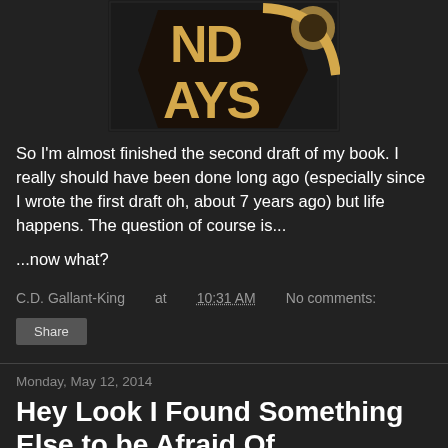[Figure (illustration): Partial book cover showing text 'ND AYS' on dark background with decorative design]
So I'm almost finished the second draft of my book. I really should have been done long ago (especially since I wrote the first draft oh, about 7 years ago) but life happens. The question of course is...
...now what?
C.D. Gallant-King at 10:31 AM   No comments:
Share
Monday, May 12, 2014
Hey Look I Found Something Else to be Afraid Of